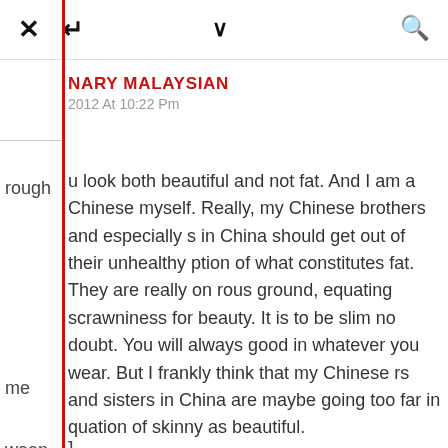[Figure (screenshot): Mobile browser UI top bar with X, redirect, chevron, and search icons]
NARY MALAYSIAN
2012 At 10:22 Pm
rough
u look both beautiful and not fat. And I am a Chinese myself. Really, my Chinese brothers and especially s in China should get out of their unhealthy ption of what constitutes fat. They are really on rous ground, equating scrawniness for beauty. It is to be slim no doubt. You will always good in whatever you wear. But I frankly think that my Chinese rs and sisters in China are maybe going too far in quation of skinny as beautiful.
me
ween
]